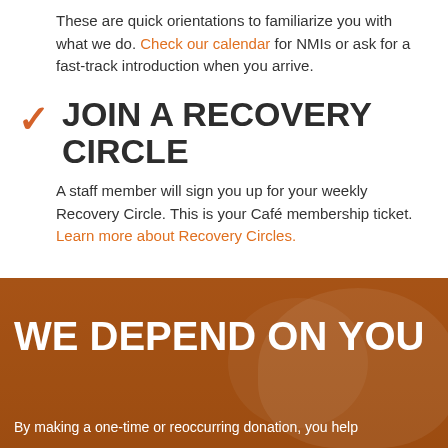These are quick orientations to familiarize you with what we do. Check our calendar for NMIs or ask for a fast-track introduction when you arrive.
JOIN A RECOVERY CIRCLE
A staff member will sign you up for your weekly Recovery Circle. This is your Café membership ticket. Learn more about Recovery Circles.
WE DEPEND ON YOU
By making a one-time or reoccurring donation, you help